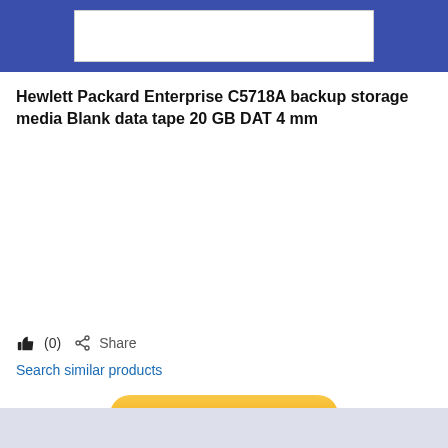Hewlett Packard Enterprise C5718A backup storage media Blank data tape 20 GB DAT 4 mm
👍 (0)  Share
Search similar products
Edit this data-sheet